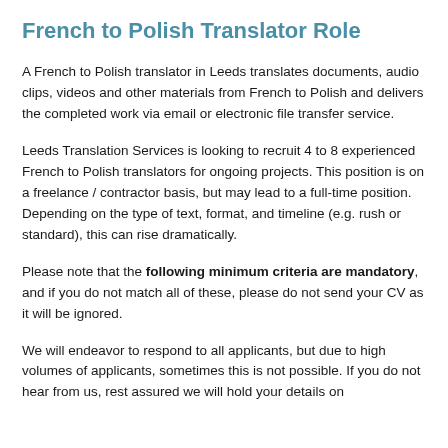French to Polish Translator Role
A French to Polish translator in Leeds translates documents, audio clips, videos and other materials from French to Polish and delivers the completed work via email or electronic file transfer service.
Leeds Translation Services is looking to recruit 4 to 8 experienced French to Polish translators for ongoing projects. This position is on a freelance / contractor basis, but may lead to a full-time position. Depending on the type of text, format, and timeline (e.g. rush or standard), this can rise dramatically.
Please note that the following minimum criteria are mandatory, and if you do not match all of these, please do not send your CV as it will be ignored.
We will endeavor to respond to all applicants, but due to high volumes of applicants, sometimes this is not possible. If you do not hear from us, rest assured we will hold your details on